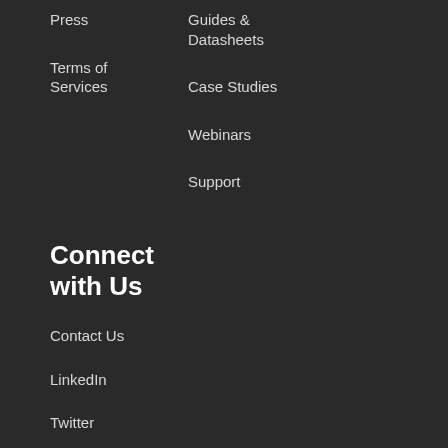Press
Terms of Services
Guides & Datasheets
Case Studies
Webinars
Support
Connect with Us
Contact Us
LinkedIn
Twitter
YouTube